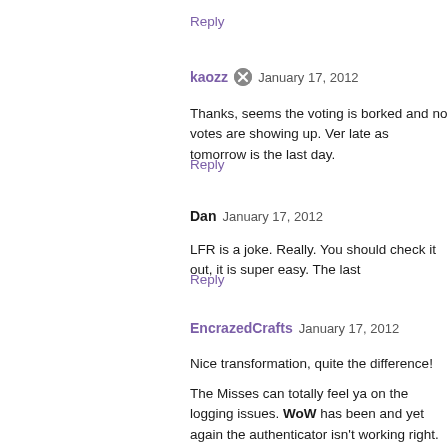Reply
kaozz  January 17, 2012
Thanks, seems the voting is borked and no votes are showing up. Ver late as tomorrow is the last day.
Reply
Dan  January 17, 2012
LFR is a joke. Really. You should check it out, it is super easy. The last
Reply
EncrazedCrafts  January 17, 2012
Nice transformation, quite the difference!
The Misses can totally feel ya on the logging issues. WoW has been and yet again the authenticator isn't working right. We've called tech number again. Today she got a really bogus error so it looks like we'll